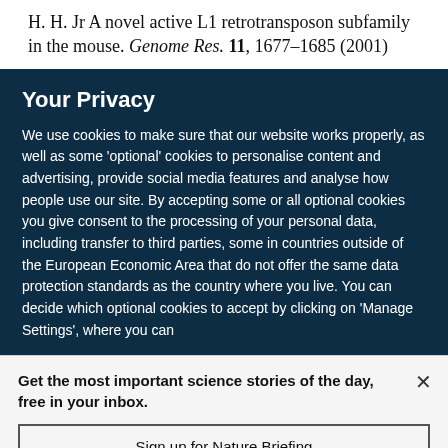H. H. Jr A novel active L1 retrotransposon subfamily in the mouse. Genome Res. 11, 1677–1685 (2001)
Your Privacy
We use cookies to make sure that our website works properly, as well as some 'optional' cookies to personalise content and advertising, provide social media features and analyse how people use our site. By accepting some or all optional cookies you give consent to the processing of your personal data, including transfer to third parties, some in countries outside of the European Economic Area that do not offer the same data protection standards as the country where you live. You can decide which optional cookies to accept by clicking on 'Manage Settings', where you can
Get the most important science stories of the day, free in your inbox.
Sign up for Nature Briefing